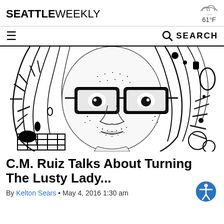SEATTLE WEEKLY  61°F
SEARCH
[Figure (illustration): Black and white ink illustration of a person with long hair and thick-rimmed glasses, surrounded by decorative doodles including starbursts, shapes, and a grid pattern in the lower left corner.]
C.M. Ruiz Talks About Turning The Lusty Lady...
By Kelton Sears • May 4, 2016 1:30 am